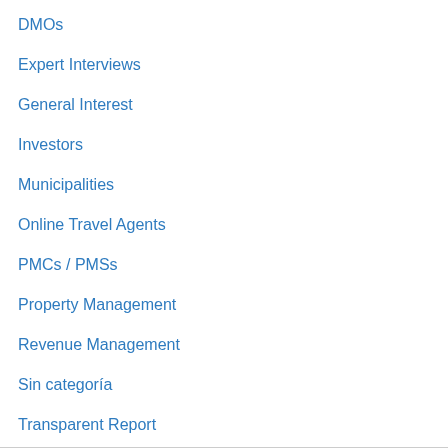DMOs
Expert Interviews
General Interest
Investors
Municipalities
Online Travel Agents
PMCs / PMSs
Property Management
Revenue Management
Sin categoría
Transparent Report
Vacation Rentals